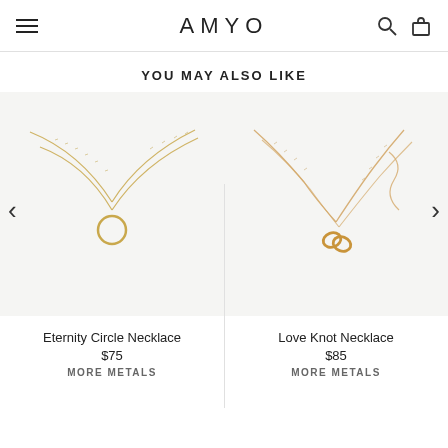AMYO
YOU MAY ALSO LIKE
[Figure (photo): Eternity Circle Necklace product photo — gold layered chain necklace with a small open circle pendant on light background]
Eternity Circle Necklace
$75
MORE METALS
[Figure (photo): Love Knot Necklace product photo — gold chain necklace with a small love knot pendant on light background]
Love Knot Necklace
$85
MORE METALS